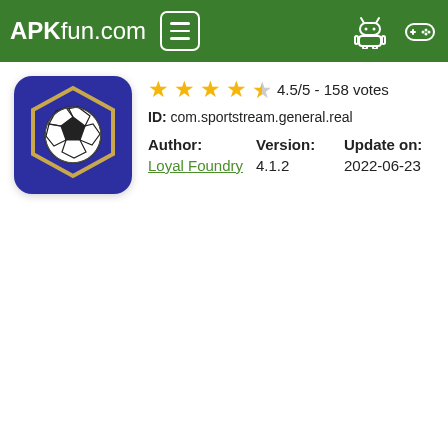APKfun.com
[Figure (logo): App icon: blue rounded square with hexagon outline and soccer ball, for com.sportstream.general.real]
4.5/5 - 158 votes
ID: com.sportstream.general.real
| Author: | Version: | Update on: |
| --- | --- | --- |
| Loyal Foundry | 4.1.2 | 2022-06-23 |